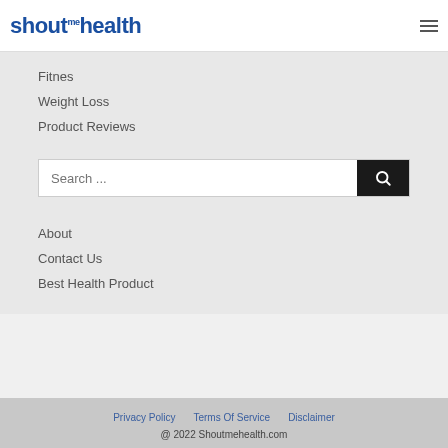shoutme health
Fitnes
Weight Loss
Product Reviews
[Figure (other): Search bar with text 'Search ...' and a dark search button with magnifying glass icon]
About
Contact Us
Best Health Product
Privacy Policy   Terms Of Service   Disclaimer
@ 2022 Shoutmehealth.com